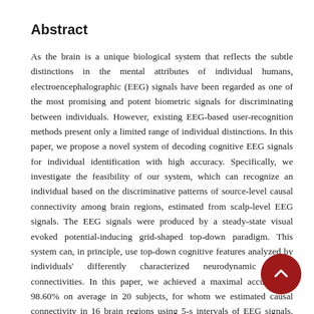Abstract
As the brain is a unique biological system that reflects the subtle distinctions in the mental attributes of individual humans, electroencephalographic (EEG) signals have been regarded as one of the most promising and potent biometric signals for discriminating between individuals. However, existing EEG-based user-recognition methods present only a limited range of individual distinctions. In this paper, we propose a novel system of decoding cognitive EEG signals for individual identification with high accuracy. Specifically, we investigate the feasibility of our system, which can recognize an individual based on the discriminative patterns of source-level causal connectivity among brain regions, estimated from scalp-level EEG signals. The EEG signals were produced by a steady-state visual evoked potential-inducing grid-shaped top-down paradigm. This system can, in principle, use top-down cognitive features analyzed by individuals' differently characterized neurodynamic causal connectivities. In this paper, we achieved a maximal accuracy of 98.60% on average in 20 subjects, for whom we estimated causal connectivity in 16 brain regions using 5-s intervals of EEG signals. Our system shows promising initial results toward